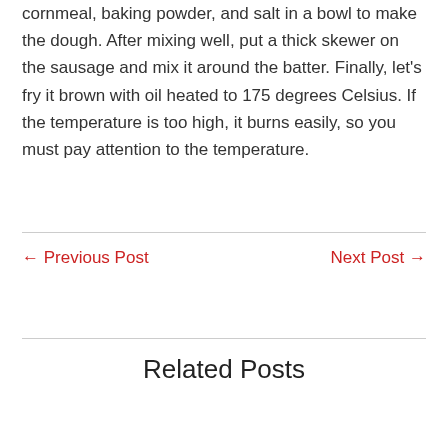cornmeal, baking powder, and salt in a bowl to make the dough. After mixing well, put a thick skewer on the sausage and mix it around the batter. Finally, let's fry it brown with oil heated to 175 degrees Celsius. If the temperature is too high, it burns easily, so you must pay attention to the temperature.
← Previous Post
Next Post →
Related Posts